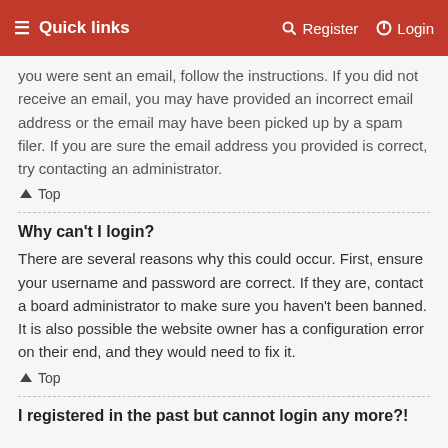Quick links   Register   Login
you were sent an email, follow the instructions. If you did not receive an email, you may have provided an incorrect email address or the email may have been picked up by a spam filer. If you are sure the email address you provided is correct, try contacting an administrator.
↑ Top
Why can't I login?
There are several reasons why this could occur. First, ensure your username and password are correct. If they are, contact a board administrator to make sure you haven't been banned. It is also possible the website owner has a configuration error on their end, and they would need to fix it.
↑ Top
I registered in the past but cannot login any more?!